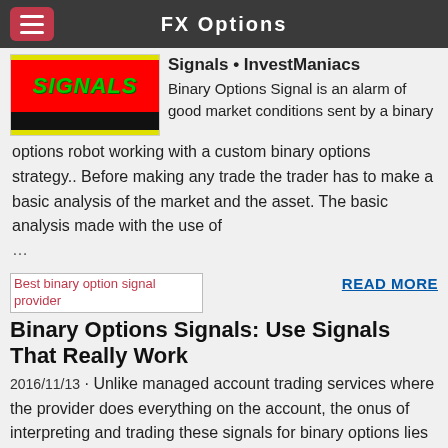FX Options
[Figure (photo): Signals image with red background and green SIGNALS text, black bar below]
Signals • InvestManiacs
Binary Options Signal is an alarm of good market conditions sent by a binary options robot working with a custom binary options strategy.. Before making any trade the trader has to make a basic analysis of the market and the asset. The basic analysis made with the use of …
[Figure (photo): Best binary option signal provider image placeholder]
READ MORE
Binary Options Signals: Use Signals That Really Work
2016/11/13 · Unlike managed account trading services where the provider does everything on the account, the onus of interpreting and trading these signals for binary options lies squarely on the shoulders of the recipient of such signals. Best Signals Providers 2017: Investoo.com PRO Signals + Indicators – $99 one-off or free